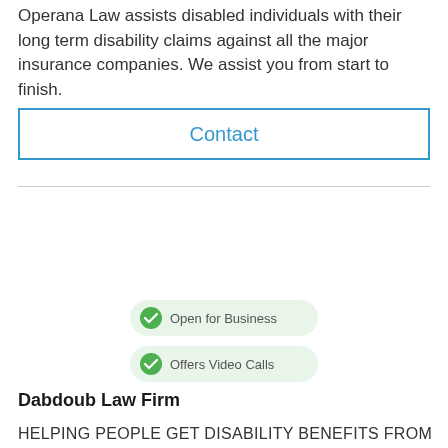Operana Law assists disabled individuals with their long term disability claims against all the major insurance companies. We assist you from start to finish.
Contact
Open for Business
Offers Video Calls
Dabdoub Law Firm
HELPING PEOPLE GET DISABILITY BENEFITS FROM